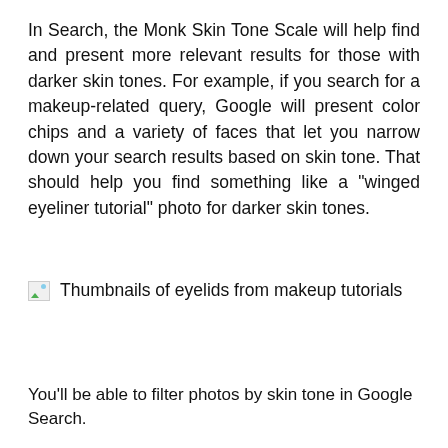In Search, the Monk Skin Tone Scale will help find and present more relevant results for those with darker skin tones. For example, if you search for a makeup-related query, Google will present color chips and a variety of faces that let you narrow down your search results based on skin tone. That should help you find something like a "winged eyeliner tutorial" photo for darker skin tones.
[Figure (photo): Broken image placeholder with caption: Thumbnails of eyelids from makeup tutorials]
Thumbnails of eyelids from makeup tutorials
You'll be able to filter photos by skin tone in Google Search.